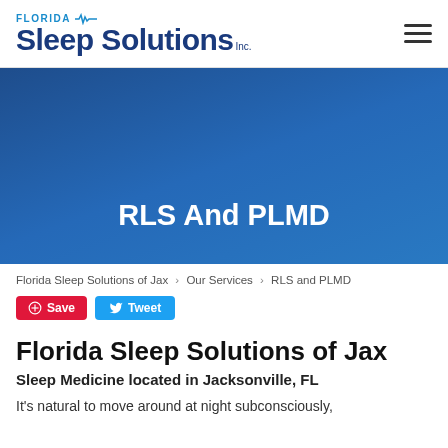Florida Sleep Solutions Inc. [logo] [hamburger menu]
[Figure (other): Blue hero banner with title RLS And PLMD in white bold text]
RLS And PLMD
Florida Sleep Solutions of Jax › Our Services › RLS and PLMD
Save   Tweet
Florida Sleep Solutions of Jax
Sleep Medicine located in Jacksonville, FL
It's natural to move around at night subconsciously,